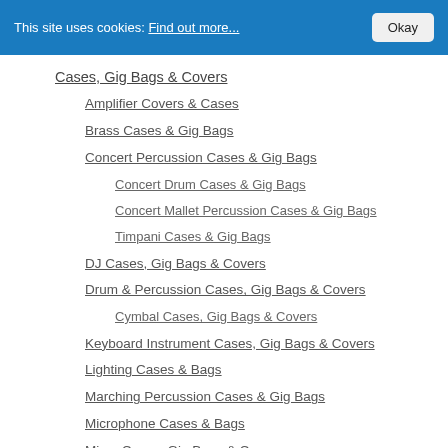This site uses cookies: Find out more... Okay
Cases, Gig Bags & Covers
Amplifier Covers & Cases
Brass Cases & Gig Bags
Concert Percussion Cases & Gig Bags
Concert Drum Cases & Gig Bags
Concert Mallet Percussion Cases & Gig Bags
Timpani Cases & Gig Bags
DJ Cases, Gig Bags & Covers
Drum & Percussion Cases, Gig Bags & Covers
Cymbal Cases, Gig Bags & Covers
Keyboard Instrument Cases, Gig Bags & Covers
Lighting Cases & Bags
Marching Percussion Cases & Gig Bags
Microphone Cases & Bags
Mixer Cases, Gig Bags & Covers
Orchestral Strings Cases & Gig Bags